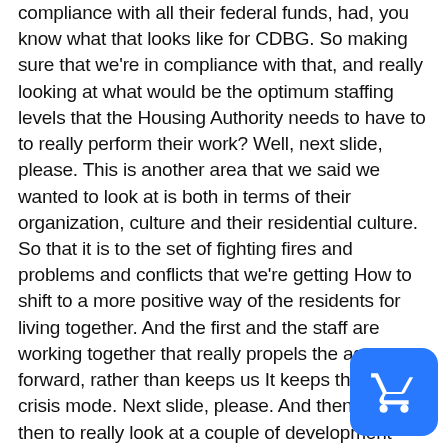There are as well as looking at how they are in compliance with all their federal funds, had, you know what that looks like for CDBG. So making sure that we're in compliance with that, and really looking at what would be the optimum staffing levels that the Housing Authority needs to have to to really perform their work? Well, next slide, please. This is another area that we said we wanted to look at is both in terms of their organization, culture and their residential culture. So that it is to the set of fighting fires and problems and conflicts that we're getting How to shift to a more positive way of the residents for living together. And the first and the staff are working together that really propels the agency forward, rather than keeps us It keeps them in a crisis mode. Next slide, please. And then, and then to really look at a couple of development opportunities I think, as you all know, in terms of we are looking at refinancing and rehab of the Aspen Meadows...